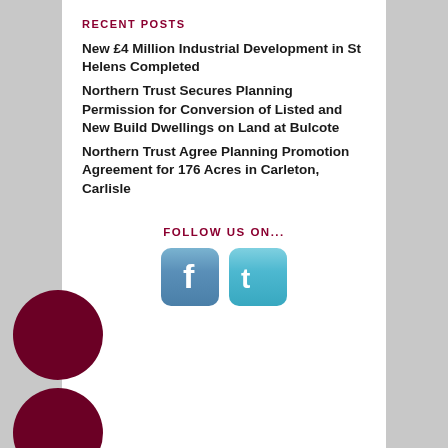RECENT POSTS
New £4 Million Industrial Development in St Helens Completed
Northern Trust Secures Planning Permission for Conversion of Listed and New Build Dwellings on Land at Bulcote
Northern Trust Agree Planning Promotion Agreement for 176 Acres in Carleton, Carlisle
FOLLOW US ON...
[Figure (illustration): Facebook and Twitter social media icon buttons]
[Figure (illustration): Three dark red circles partially visible at bottom left of page]